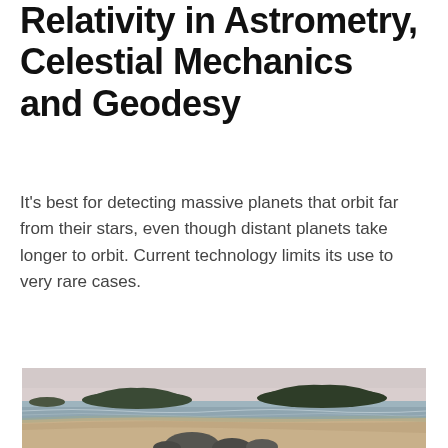Relativity in Astrometry, Celestial Mechanics and Geodesy
It's best for detecting massive planets that orbit far from their stars, even though distant planets take longer to orbit. Current technology limits its use to very rare cases.
[Figure (photo): A coastal beach scene with calm water, sandy beach, forested islands in the background under a pale overcast sky, with rocks in the foreground.]